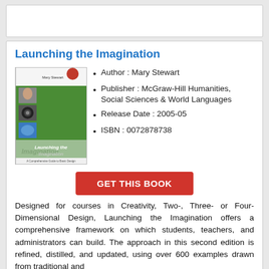[Figure (other): Empty white card at top of page]
Launching the Imagination
[Figure (photo): Book cover of 'Launching the Imagination' by Mary Stewart, green cover with small photo thumbnails]
Author : Mary Stewart
Publisher : McGraw-Hill Humanities, Social Sciences & World Languages
Release Date : 2005-05
ISBN : 0072878738
GET THIS BOOK
Designed for courses in Creativity, Two-, Three- or Four-Dimensional Design, Launching the Imagination offers a comprehensive framework on which students, teachers, and administrators can build. The approach in this second edition is refined, distilled, and updated, using over 600 examples drawn from traditional and